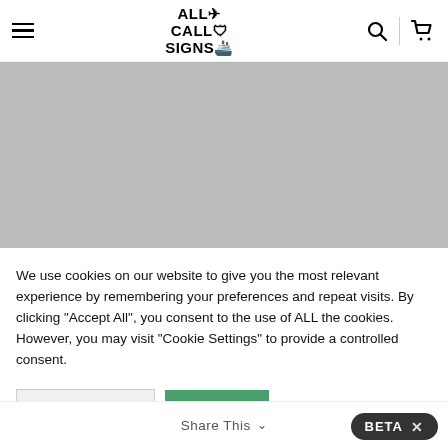ALL CALL SIGNS — navigation header with hamburger menu, logo, search and cart icons
[Figure (photo): Gray placeholder banner image area]
We use cookies on our website to give you the most relevant experience by remembering your preferences and repeat visits. By clicking "Accept All", you consent to the use of ALL the cookies. However, you may visit "Cookie Settings" to provide a controlled consent.
Cookie Settings | ACCEPT
Share This ∨  BETA ✕